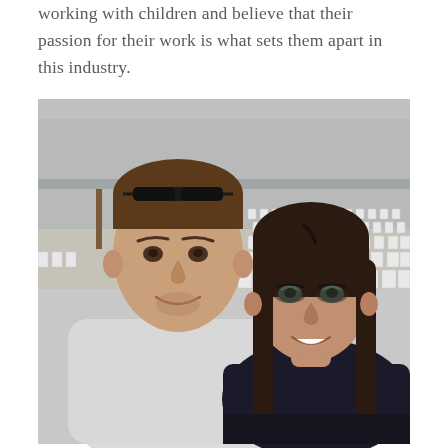working with children and believe that their passion for their work is what sets them apart in this industry.
[Figure (photo): A couple taking a selfie at a beach venue with rows of white folding chairs set up in the background. The man is on the left wearing a white shirt with sunglasses on his head, and the woman is on the right with long dark hair.]